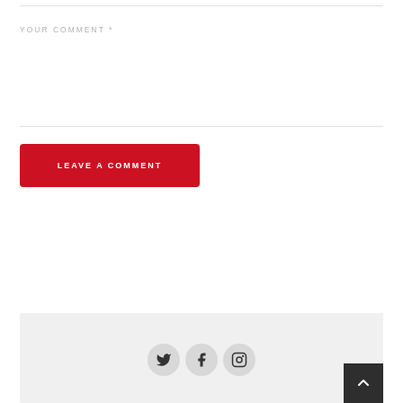YOUR COMMENT *
LEAVE A COMMENT
[Figure (other): Footer section with social media icons (Twitter, Facebook, Instagram) in circular grey buttons, and a back-to-top arrow button in dark grey at bottom right]